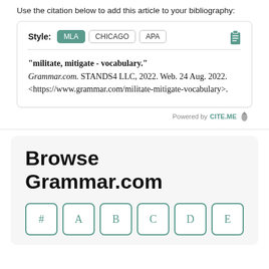Use the citation below to add this article to your bibliography:
Style: MLA CHICAGO APA
"militate, mitigate - vocabulary." Grammar.com. STANDS4 LLC, 2022. Web. 24 Aug. 2022. <https://www.grammar.com/militate-mitigate-vocabulary>.
Powered by CITE.ME
Browse Grammar.com
# A B C D E